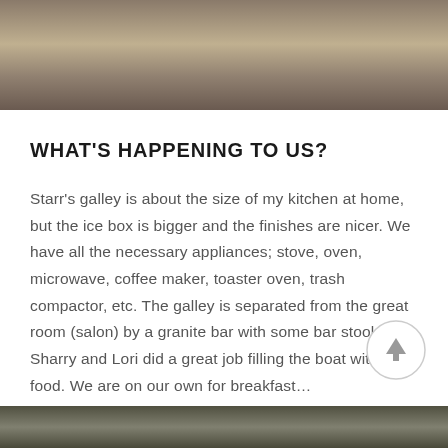[Figure (photo): Partial photo of indoor scene, boat interior — top of page]
WHAT'S HAPPENING TO US?
Starr's galley is about the size of my kitchen at home, but the ice box is bigger and the finishes are nicer. We have all the necessary appliances; stove, oven, microwave, coffee maker, toaster oven, trash compactor, etc. The galley is separated from the great room (salon) by a granite bar with some bar stools. Sharry and Lori did a great job filling the boat with tasty food. We are on our own for breakfast...
01 June, 2018 /  1 Comment
[Figure (photo): Partial photo visible at bottom of page]